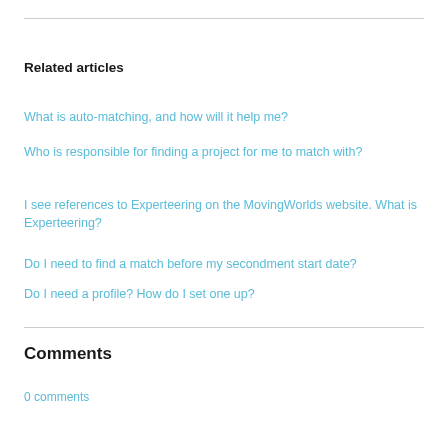Related articles
What is auto-matching, and how will it help me?
Who is responsible for finding a project for me to match with?
I see references to Experteering on the MovingWorlds website. What is Experteering?
Do I need to find a match before my secondment start date?
Do I need a profile? How do I set one up?
Comments
0 comments